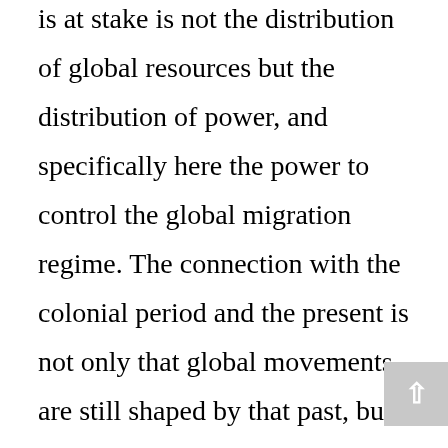is at stake is not the distribution of global resources but the distribution of power, and specifically here the power to control the global migration regime. The connection with the colonial period and the present is not only that global movements are still shaped by that past, but also that powerful states have sought to control that regime in order to dominate and exploit the less powerful through that period and since. The fact that patterns of movement have changed direction does